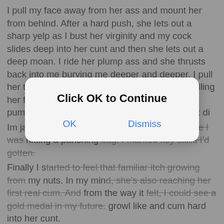I pull my face away from her ass and mount her from behind. After a hard push, she lets out a sharp yelp as I bust her virginity and my cock slides deep into her cunt and then she lets out a deep moan. I ride her plump ass and she thrusts back into me burying me deeper and deeper. I pull her tits out from her bra and shirt and start fondling her fat nipples. I take a deep breath and start pumping her pussy. Jo is delirious from her first di[obscured by dialog]
Im jackin[obscured] my dick furiously now. It sounded like I was hitting a punching [obscured] I marked key skills I'd gotten.
Finally I s[obscured]arted to feel that familiar itch growing from my nuts. In my min[obscured]d, she's also reaching her first real cum. And from the way it [obscured]felt, I could see a gold medal in my future. [obscured] growl like and cum hard into her cunt.
I actually shot halfway across my bedroom. When I went to clean it up, I swear it must have been almost a whole cup of jizz and it was still dripping out of my dick. Ahhh youth.
Years later, I ran into Joanne and she had become a young entrepreneur. She owned a fast food franchise. She had really improved her looks. Her hair was styled and no longer dry. Her
[Figure (screenshot): A modal dialog overlay with the message 'Click OK to Continue' and two buttons: OK and Dismiss.]